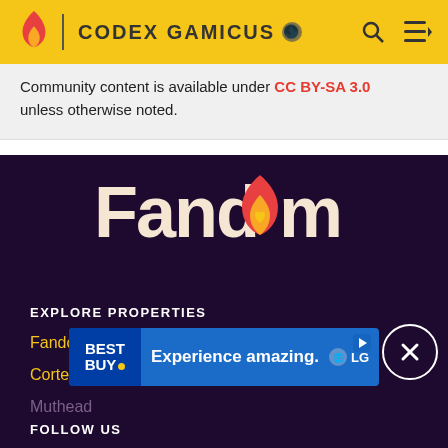CODEX GAMICUS
Community content is available under CC BY-SA 3.0 unless otherwise noted.
[Figure (logo): Fandom logo with flame icon and heart]
EXPLORE PROPERTIES
Fandom
Futhead
Cortex RPG
Fanatical
Muthead
[Figure (screenshot): Best Buy advertisement banner - Experience amazing. LG]
FOLLOW US